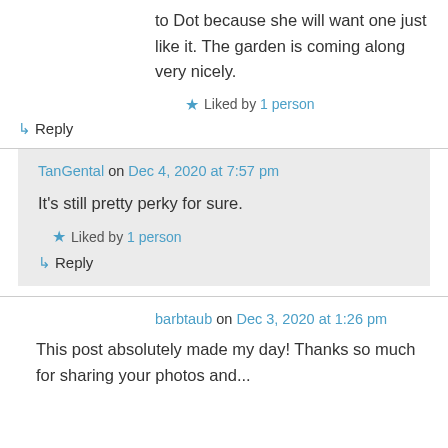to Dot because she will want one just like it. The garden is coming along very nicely.
★ Liked by 1 person
↳ Reply
TanGental on Dec 4, 2020 at 7:57 pm
It's still pretty perky for sure.
★ Liked by 1 person
↳ Reply
barbtaub on Dec 3, 2020 at 1:26 pm
This post absolutely made my day! Thanks so much for sharing your photos and...